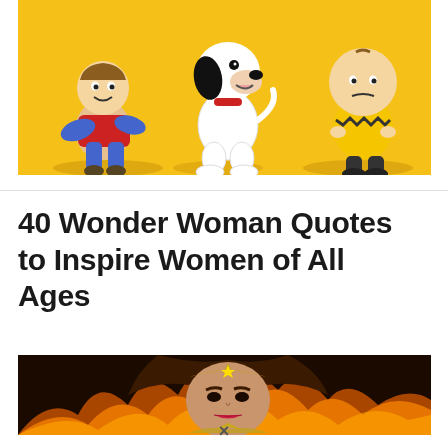[Figure (illustration): Animated Peanuts characters (Linus, Snoopy, Charlie Brown) on a yellow background, from The Peanuts Movie]
40 Wonder Woman Quotes to Inspire Women of All Ages
[Figure (illustration): Wonder Woman character artwork with fire/flame background and tiara visible]